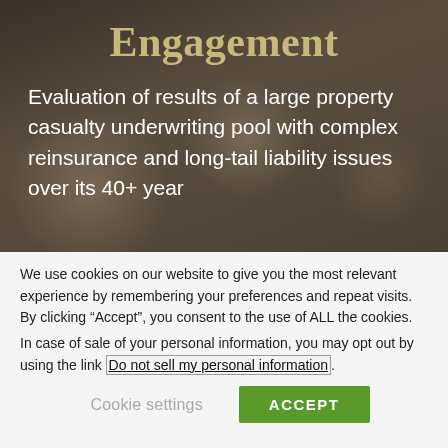Engagement
Evaluation of results of a large property casualty underwriting pool with complex reinsurance and long-tail liability issues over its 40+ year
We use cookies on our website to give you the most relevant experience by remembering your preferences and repeat visits. By clicking “Accept”, you consent to the use of ALL the cookies.
In case of sale of your personal information, you may opt out by using the link Do not sell my personal information.